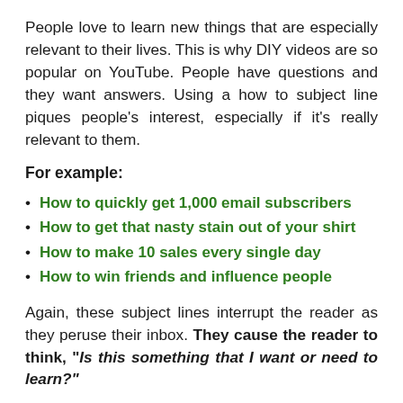People love to learn new things that are especially relevant to their lives. This is why DIY videos are so popular on YouTube. People have questions and they want answers. Using a how to subject line piques people's interest, especially if it's really relevant to them.
For example:
How to quickly get 1,000 email subscribers
How to get that nasty stain out of your shirt
How to make 10 sales every single day
How to win friends and influence people
Again, these subject lines interrupt the reader as they peruse their inbox. They cause the reader to think, "Is this something that I want or need to learn?"